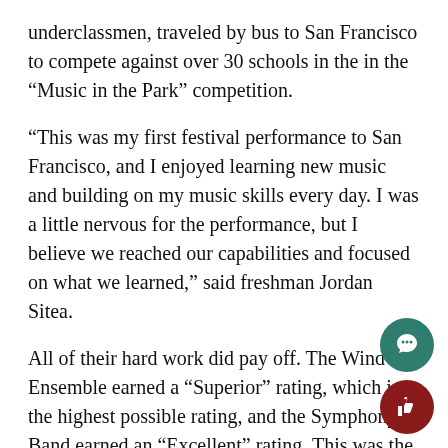underclassmen, traveled by bus to San Francisco to compete against over 30 schools in the in the “Music in the Park” competition.
“This was my first festival performance to San Francisco, and I enjoyed learning new music and building on my music skills every day. I was a little nervous for the performance, but I believe we reached our capabilities and focused on what we learned,” said freshman Jordan Sitea.
All of their hard work did pay off. The Wind Ensemble earned a “Superior” rating, which is the highest possible rating, and the Symphony Band earned an “Excellent” rating. This was the first time the Symphonic Band had competed at a festival.
Performing at a festival is unique compared to other venues because there are judges who evaluate the